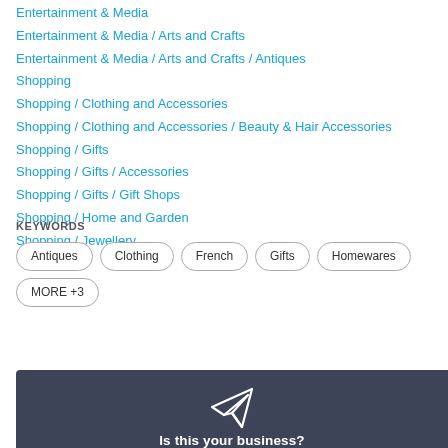Entertainment & Media
Entertainment & Media / Arts and Crafts
Entertainment & Media / Arts and Crafts / Antiques
Shopping
Shopping / Clothing and Accessories
Shopping / Clothing and Accessories / Beauty & Hair Accessories
Shopping / Gifts
Shopping / Gifts / Accessories
Shopping / Gifts / Gift Shops
Shopping / Home and Garden
Shopping / Jewellery
KEYWORDS
Antiques  Clothing  French  Gifts  Homewares  MORE +3
[Figure (illustration): Dark banner section with a paper airplane icon and text 'Is this your business?']
Is this your business?